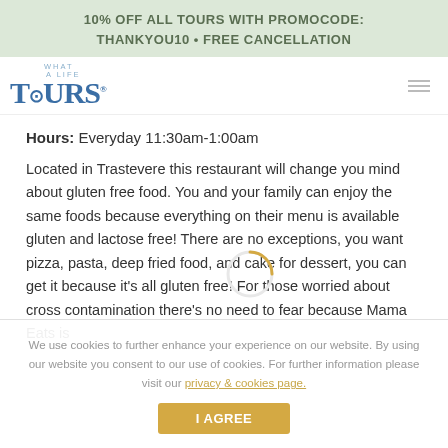10% OFF ALL TOURS WITH PROMOCODE: THANKYOU10 • FREE CANCELLATION
[Figure (logo): What A Life Tours logo — blue stylized text with TOURS in large font and WHAT A LIFE above it]
Hours: Everyday 11:30am-1:00am
Located in Trastevere this restaurant will change you mind about gluten free food. You and your family can enjoy the same foods because everything on their menu is available gluten and lactose free! There are no exceptions, you want pizza, pasta, deep fried food, and cake for dessert, you can get it because it's all gluten free! For those worried about cross contamination there's no need to fear because Mama Eats is
We use cookies to further enhance your experience on our website. By using our website you consent to our use of cookies. For further information please visit our privacy & cookies page.